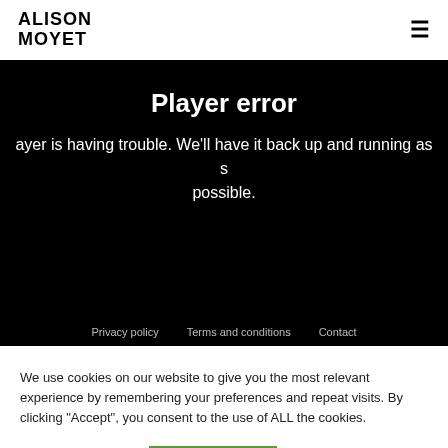ALISON MOYET
Player error
ayer is having trouble. We'll have it back up and running as s possible.
Privacy policy   Terms and conditions   Contact
We use cookies on our website to give you the most relevant experience by remembering your preferences and repeat visits. By clicking "Accept", you consent to the use of ALL the cookies.
Cookie settings
ACCEPT